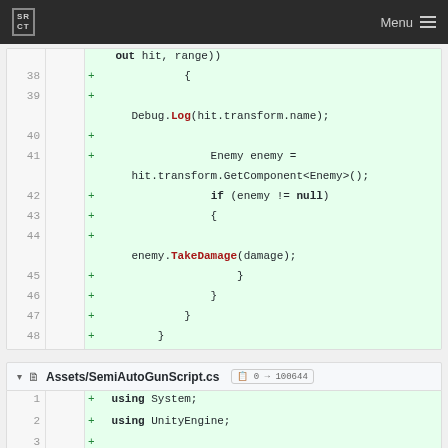SRCT | Menu
[Figure (screenshot): Code diff viewer showing lines 38-48 of a C# script with added lines (green background). Code includes Debug.Log, Enemy component retrieval, null check, and TakeDamage call.]
Assets/SemiAutoGunScript.cs  0 → 100644
[Figure (screenshot): Code diff viewer showing lines 1-2 of SemiAutoGunScript.cs with 'using System;' and 'using UnityEngine;']